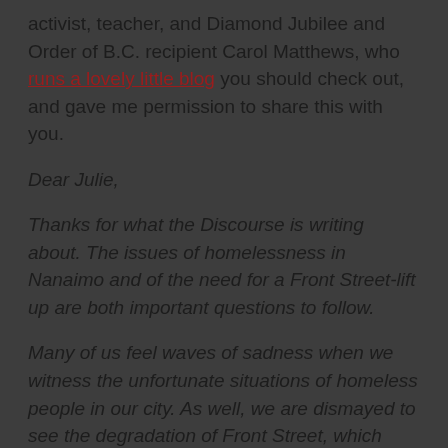activist, teacher, and Diamond Jubilee and Order of B.C. recipient Carol Matthews, who runs a lovely little blog you should check out, and gave me permission to share this with you.
Dear Julie,
Thanks for what the Discourse is writing about. The issues of homelessness in Nanaimo and of the need for a Front Street-lift up are both important questions to follow.
Many of us feel waves of sadness when we witness the unfortunate situations of homeless people in our city. As well, we are dismayed to see the degradation of Front Street, which was once such a beautiful and welcoming part of town. I'm sure that